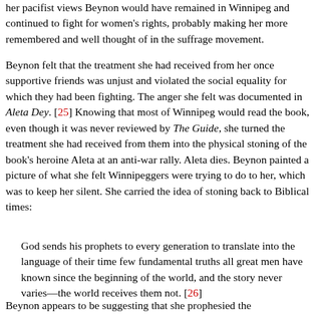her pacifist views Beynon would have remained in Winnipeg and continued to fight for women's rights, probably making her more remembered and well thought of in the suffrage movement.
Beynon felt that the treatment she had received from her once supportive friends was unjust and violated the social equality for which they had been fighting. The anger she felt was documented in Aleta Dey. [25] Knowing that most of Winnipeg would read the book, even though it was never reviewed by The Guide, she turned the treatment she had received from them into the physical stoning of the book's heroine Aleta at an anti-war rally. Aleta dies. Beynon painted a picture of what she felt Winnipeggers were trying to do to her, which was to keep her silent. She carried the idea of stoning back to Biblical times:
God sends his prophets to every generation to translate into the language of their time few fundamental truths all great men have known since the beginning of the world, and the story never varies—the world receives them not. [26]
Beynon appears to be suggesting that she prophesied the